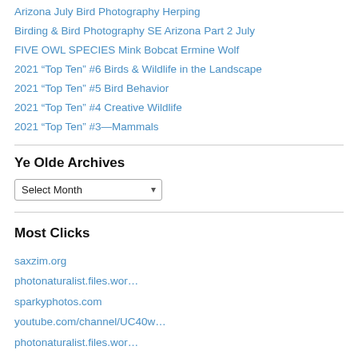Arizona July Bird Photography Herping
Birding & Bird Photography SE Arizona Part 2 July
FIVE OWL SPECIES Mink Bobcat Ermine Wolf
2021 “Top Ten” #6 Birds & Wildlife in the Landscape
2021 “Top Ten” #5 Bird Behavior
2021 “Top Ten” #4 Creative Wildlife
2021 “Top Ten” #3—Mammals
Ye Olde Archives
Select Month
Most Clicks
saxzim.org
photonaturalist.files.wor…
sparkyphotos.com
youtube.com/channel/UC40w…
photonaturalist.files.wor…